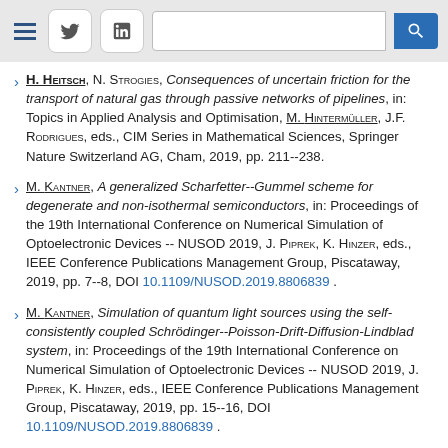Navigation header with menu, Twitter, LinkedIn icons, search bar
H. Heitsch, N. Strogies, Consequences of uncertain friction for the transport of natural gas through passive networks of pipelines, in: Topics in Applied Analysis and Optimisation, M. Hintermüller, J.F. Rodrigues, eds., CIM Series in Mathematical Sciences, Springer Nature Switzerland AG, Cham, 2019, pp. 211--238.
M. Kantner, A generalized Scharfetter--Gummel scheme for degenerate and non-isothermal semiconductors, in: Proceedings of the 19th International Conference on Numerical Simulation of Optoelectronic Devices -- NUSOD 2019, J. Piprek, K. Hinzer, eds., IEEE Conference Publications Management Group, Piscataway, 2019, pp. 7--8, DOI 10.1109/NUSOD.2019.8806839 .
M. Kantner, Simulation of quantum light sources using the self-consistently coupled Schrödinger--Poisson-Drift-Diffusion-Lindblad system, in: Proceedings of the 19th International Conference on Numerical Simulation of Optoelectronic Devices -- NUSOD 2019, J. Piprek, K. Hinzer, eds., IEEE Conference Publications Management Group, Piscataway, 2019, pp. 15--16, DOI 10.1109/NUSOD.2019.8806839 .